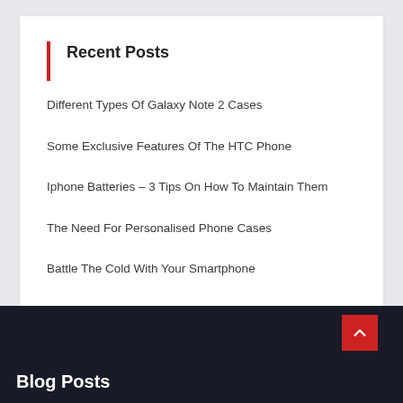Recent Posts
Different Types Of Galaxy Note 2 Cases
Some Exclusive Features Of The HTC Phone
Iphone Batteries – 3 Tips On How To Maintain Them
The Need For Personalised Phone Cases
Battle The Cold With Your Smartphone
Blog Posts